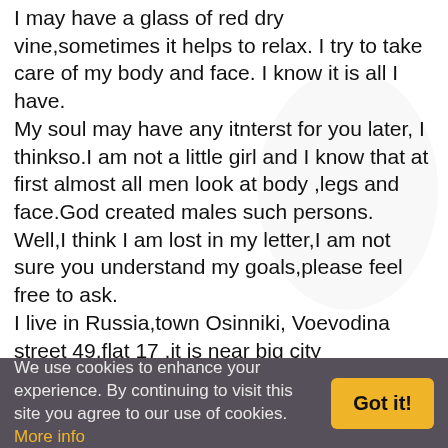I may have a glass of red dry vine,sometimes it helps to relax. I try to take care of my body and face. I know it is all I have.
My soul may have any itnterst for you later, I thinkso.I am not a little girl and I know that at first almost all men look at body ,legs and face.God created males such persons.
Well,I think I am lost in my letter,I am not sure you understand my goals,please feel free to ask.
I live in Russia,town Osinniki, Voevodina street 49,flat 17 ,it is near big city Novokuznetsk.
My town is rather far from Moscow. Moscow is a capital of my country. I want you to reply if you understand my mind,my intentions,my soul,if not please reply too, I will continue my searching. Well, I will close this letter,I think you are tired to read it.and If you think that I should write short letters please tell me,do it for my interest.
We use cookies to enhance your experience. By continuing to visit this site you agree to our use of cookies. More info